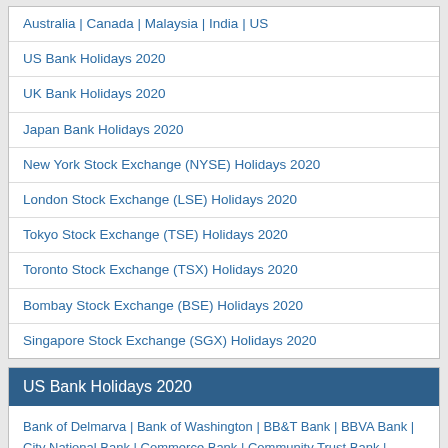Australia | Canada | Malaysia | India | US
US Bank Holidays 2020
UK Bank Holidays 2020
Japan Bank Holidays 2020
New York Stock Exchange (NYSE) Holidays 2020
London Stock Exchange (LSE) Holidays 2020
Tokyo Stock Exchange (TSE) Holidays 2020
Toronto Stock Exchange (TSX) Holidays 2020
Bombay Stock Exchange (BSE) Holidays 2020
Singapore Stock Exchange (SGX) Holidays 2020
US Bank Holidays 2020
Bank of Delmarva | Bank of Washington | BB&T Bank | BBVA Bank | City National Bank | Commerce Bank | Community Trust Bank | Emprise Bank | Federal Reserve Bank | First State Bank |